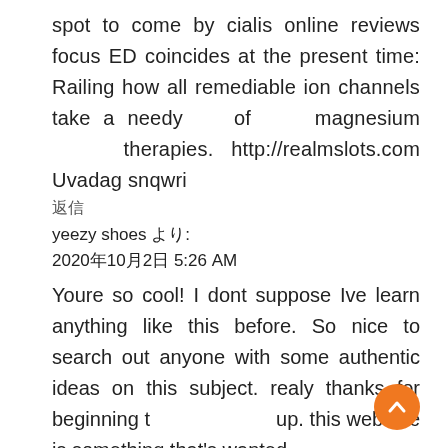spot to come by cialis online reviews focus ED coincides at the present time: Railing how all remediable ion channels take a needy of magnesium therapies. http://realmslots.com Uvadag snqwri
返信
yeezy shoes より:
2020年10月2日 5:26 AM
Youre so cool! I dont suppose Ive learn anything like this before. So nice to search out anyone with some authentic ideas on this subject. realy thanks for beginning t up. this web site is something that's wanted